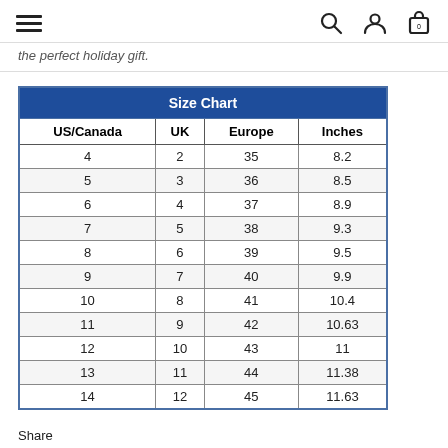navigation bar with hamburger menu, search, account, and cart icons
the perfect holiday gift.
| US/Canada | UK | Europe | Inches |
| --- | --- | --- | --- |
| 4 | 2 | 35 | 8.2 |
| 5 | 3 | 36 | 8.5 |
| 6 | 4 | 37 | 8.9 |
| 7 | 5 | 38 | 9.3 |
| 8 | 6 | 39 | 9.5 |
| 9 | 7 | 40 | 9.9 |
| 10 | 8 | 41 | 10.4 |
| 11 | 9 | 42 | 10.63 |
| 12 | 10 | 43 | 11 |
| 13 | 11 | 44 | 11.38 |
| 14 | 12 | 45 | 11.63 |
Share